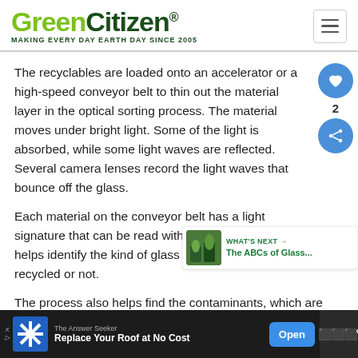GreenCitizen® MAKING EVERY DAY EARTH DAY SINCE 2005
The recyclables are loaded onto an accelerator or a high-speed conveyor belt to thin out the material layer in the optical sorting process. The material moves under bright light. Some of the light is absorbed, while some light waves are reflected. Several camera lenses record the light waves that bounce off the glass.
Each material on the conveyor belt has a light signature that can be read with a spectrometer. This helps identify the kind of glass and whether it can be recycled or not.
The process also helps find the contaminants, which are separated from the rest of the glass.
[Figure (other): WHAT'S NEXT arrow. The ABCs of Glass... with thumbnail image of glass bottles]
[Figure (other): Advertisement bar: Replace Your Roof at No Cost - The Answer Seeker - Open button]